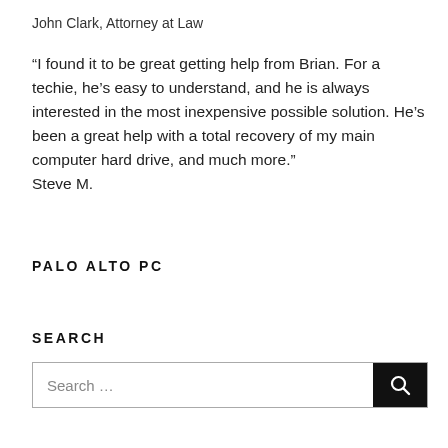John Clark, Attorney at Law
“I found it to be great getting help from Brian. For a techie, he’s easy to understand, and he is always interested in the most inexpensive possible solution. He’s been a great help with a total recovery of my main computer hard drive, and much more.”
Steve M.
PALO ALTO PC
SEARCH
Search …